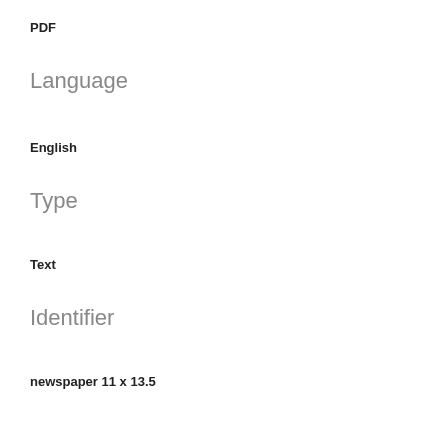PDF
Language
English
Type
Text
Identifier
newspaper 11 x 13.5
The Pride
Yes